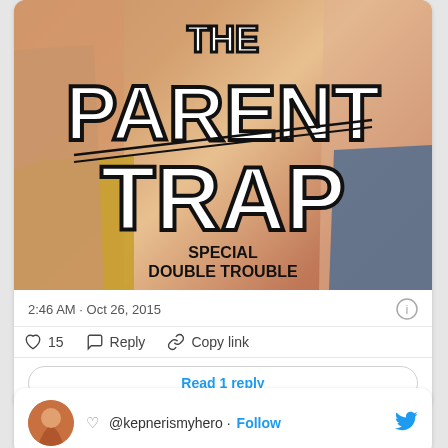[Figure (photo): The Parent Trap movie cover showing title text 'THE PARENT TRAP' in large bold black-outlined white letters, with subtitle 'SPECIAL DOUBLE TROUBLE' below, against a background showing people's arms and torsos]
2:46 AM · Oct 26, 2015
15  Reply  Copy link
Read 1 reply
@kepnerismyhero · Follow